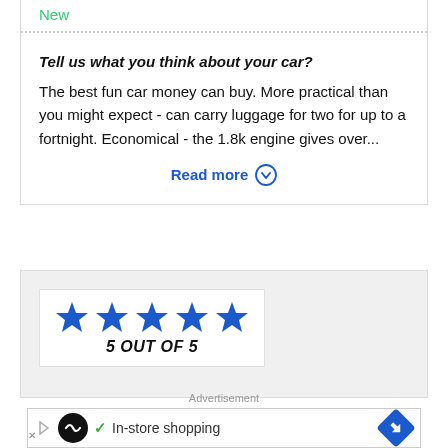New
Tell us what you think about your car?
The best fun car money can buy. More practical than you might expect - can carry luggage for two for up to a fortnight. Economical - the 1.8k engine gives over...
Read more
[Figure (other): 5 out of 5 stars rating badge with five blue stars and text '5 OUT OF 5']
Advertisement
[Figure (screenshot): Advertisement banner with black circle logo, checkmark, 'In-store shopping' text, and blue diamond arrow icon]